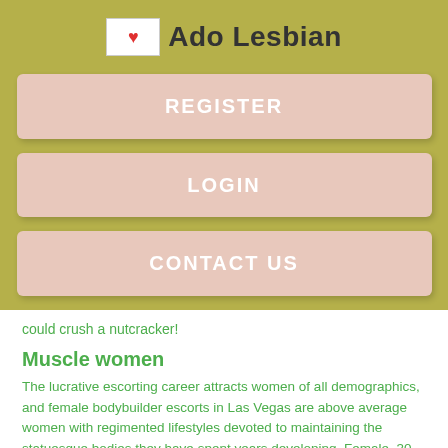Ado Lesbian
REGISTER
LOGIN
CONTACT US
could crush a nutcracker!
Muscle women
The lucrative escorting career attracts women of all demographics, and female bodybuilder escorts in Las Vegas are above average women with regimented lifestyles devoted to maintaining the statuesque bodies they have spent years developing. Female, 30 years old Kuala Lumpur EscortMalaysia Therapist And Muscles Beauty, Here I am, one of a time of t...